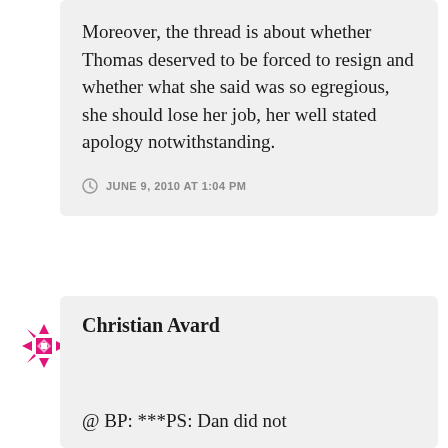Moreover, the thread is about whether Thomas deserved to be forced to resign and whether what she said was so egregious, she should lose her job, her well stated apology notwithstanding.
JUNE 9, 2010 AT 1:04 PM
Christian Avard
@ BP: ***PS: Dan did not